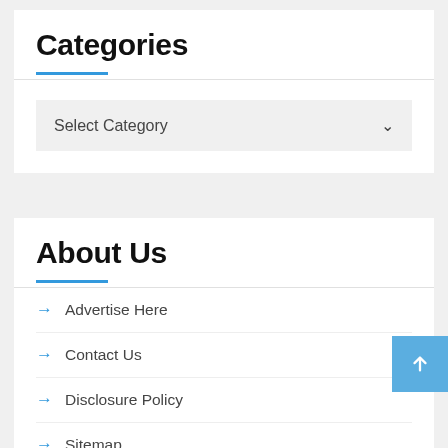Categories
Select Category
About Us
Advertise Here
Contact Us
Disclosure Policy
Sitemap